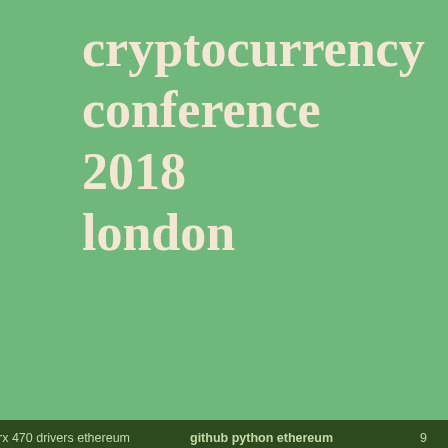cryptocurrency conference 2018 london
How much Bitcoin or... simple app with an av...
rx 470 drivers ethereum   github python ethereum   9
[Figure (other): Rounded rectangle box on light green background]